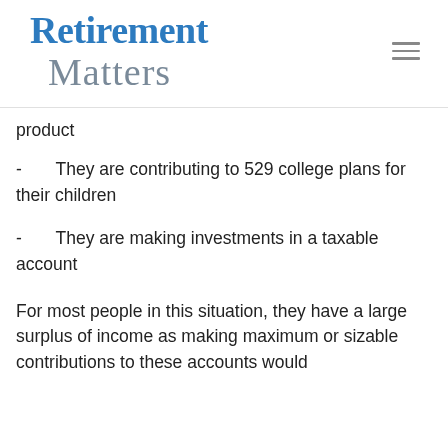Retirement Matters
product
- They are contributing to 529 college plans for their children
- They are making investments in a taxable account
For most people in this situation, they have a large surplus of income as making maximum or sizable contributions to these accounts would